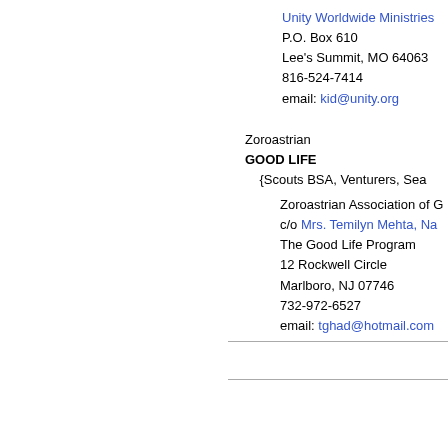Unity Worldwide Ministries
P.O. Box 610
Lee's Summit, MO 64063
816-524-7414
email: kid@unity.org
Zoroastrian
GOOD LIFE
  {Scouts BSA, Venturers, Sea
Zoroastrian Association of G
c/o Mrs. Temilyn Mehta, Na
The Good Life Program
12 Rockwell Circle
Marlboro, NJ 07746
732-972-6527
email: tghad@hotmail.com